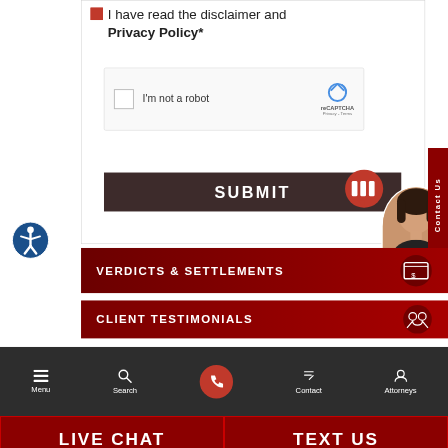I have read the disclaimer and Privacy Policy*
[Figure (screenshot): reCAPTCHA widget with checkbox labeled 'I'm not a robot']
SUBMIT
[Figure (other): Accessibility icon - blue circle with person figure]
[Figure (other): Red chat bubble with bars icon]
[Figure (photo): Online agent avatar - woman with short hair, green online indicator]
Contact Us
Online Agent
VERDICTS & SETTLEMENTS
CLIENT TESTIMONIALS
Menu
Search
Contact
Attorneys
LIVE CHAT
TEXT US